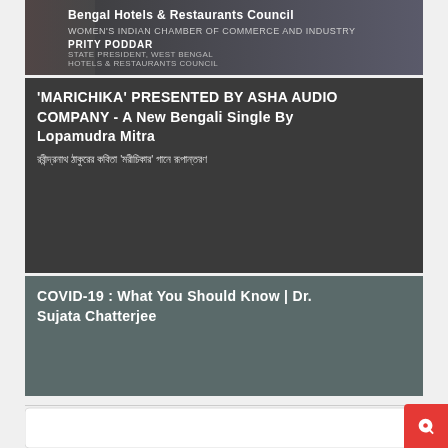[Figure (photo): Card with woman's face on left and text overlay: 'Bengal Hotels & Restaurants Council' with person name PRITY PODDAR, STATE PRESIDENT, WEST BENGAL HOTELS & RESTAURANTS COUNCIL, and Women's Indian Chamber of Commerce and Industry logo]
'MARICHIKA' PRESENTED BY ASHA AUDIO COMPANY – A New Bengali Single By Lopamudra Mitra
রবীন্দ্রনাথ ঠাকুরের কবিতা 'মরীচিকার' গানে রূপান্তরণ
COVID-19 : What You Should Know | Dr. Sujata Chatterjee
SPONSOR